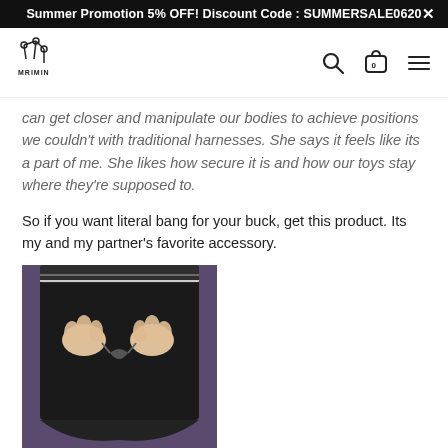Summer Promotion 5% OFF! Discount Code : SUMMERSALE0620
[Figure (logo): MRIMIN brand logo with decorative icon and text]
can get closer and manipulate our bodies to achieve positions we couldn't with traditional harnesses. She says it feels like its a part of me. She likes how secure it is and how our toys stay where they're supposed to.
So if you want literal bang for your buck, get this product. Its my and my partner's favorite accessory.
[Figure (photo): Photo of black shorts/boxer product being held at the waistband area, showing the front tie closure, on a purple background]
MRIMIN TM Boxer Wea... Sports Boxer ... r w... - L-Waist 33-37"(83-93cm)